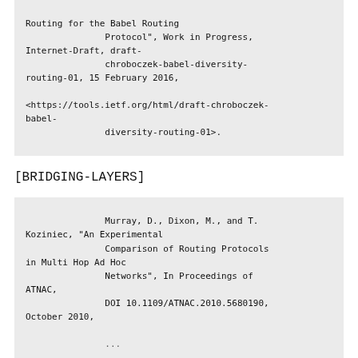Routing for the Babel Routing Protocol", Work in Progress, Internet-Draft, draft-chroboczek-babel-diversity-routing-01, 15 February 2016, <https://tools.ietf.org/html/draft-chroboczek-babel-diversity-routing-01>.
[BRIDGING-LAYERS]
Murray, D., Dixon, M., and T. Koziniec, "An Experimental Comparison of Routing Protocols in Multi Hop Ad Hoc Networks", In Proceedings of ATNAC, DOI 10.1109/ATNAC.2010.5680190, October 2010,